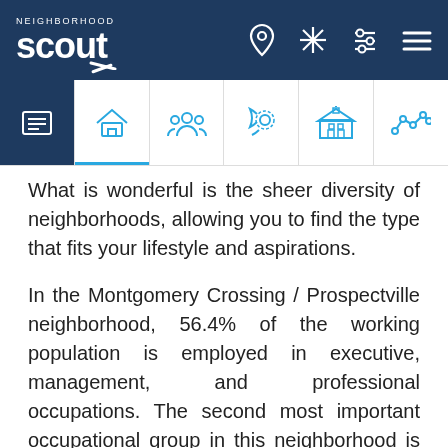[Figure (screenshot): Neighborhood Scout website top navigation bar with logo and icons]
[Figure (screenshot): Neighborhood Scout secondary navigation tabs with category icons]
What is wonderful is the sheer diversity of neighborhoods, allowing you to find the type that fits your lifestyle and aspirations.
In the Montgomery Crossing / Prospectville neighborhood, 56.4% of the working population is employed in executive, management, and professional occupations. The second most important occupational group in this neighborhood is sales and service jobs, from major sales accounts, to working in fast food restaurants, with 22.1% of the residents employed. Other residents here are employed in